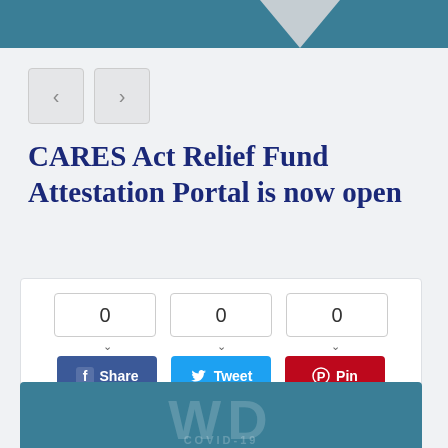[Figure (screenshot): Teal top navigation bar with a funnel/arrow shape cutout in light gray]
CARES Act Relief Fund Attestation Portal is now open
[Figure (infographic): Social sharing widget with share counts (0, 0, 0) and buttons for Facebook Share, Tweet, and Pinterest Pin]
[Figure (screenshot): Bottom teal panel with large faint WD letters and COVID-19 text partially visible]